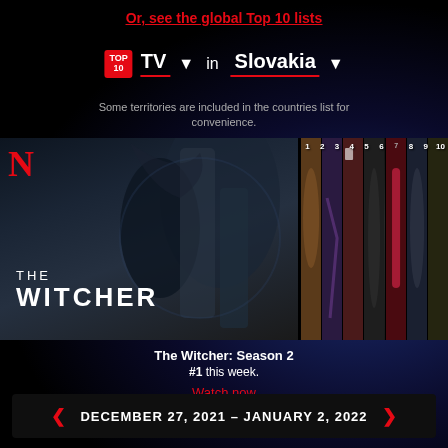Or, see the global Top 10 lists
[Figure (screenshot): Netflix Top 10 TV in Slovakia selector showing TOP 10 badge, TV dropdown, 'in' label, and Slovakia dropdown with red underlines]
Some territories are included in the countries list for convenience.
[Figure (screenshot): Netflix strip showing The Witcher Season 2 as #1 with show thumbnails ranked 1-10]
The Witcher: Season 2
#1 this week.
Watch now
DECEMBER 27, 2021 - JANUARY 2, 2022